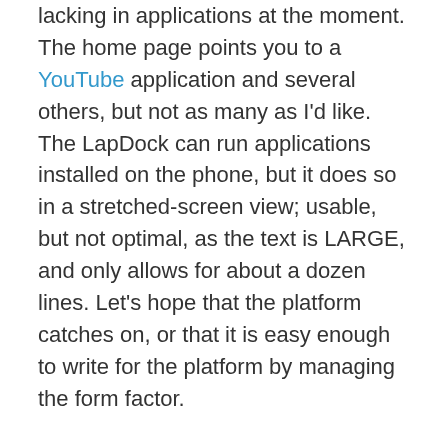lacking in applications at the moment. The home page points you to a YouTube application and several others, but not as many as I'd like. The LapDock can run applications installed on the phone, but it does so in a stretched-screen view; usable, but not optimal, as the text is LARGE, and only allows for about a dozen lines. Let's hope that the platform catches on, or that it is easy enough to write for the platform by managing the form factor.
On to WordPress. It's great to have a keyboard and a full screen. It's also great that WordPress saves drafts to my account when online .. this makes it handy to stub a post from the LapDock, save it to draft and then tidy it up in Windows Live Writer when back on the PC. I need to play a bit with this; for an archival post, I'd probably run it through WLW before posting … for something of a more